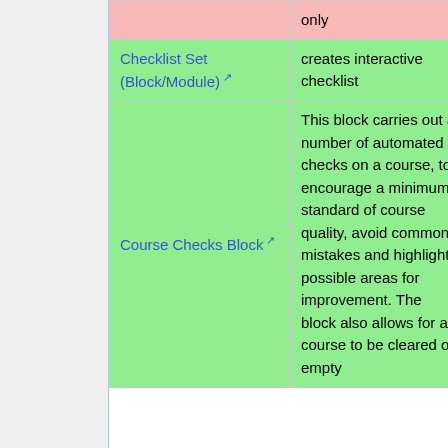|  | Description | lo |
| --- | --- | --- |
|  | only | lo |
| Checklist Set (Block/Module) | creates interactive checklist | I |
| Course Checks Block | This block carries out a number of automated checks on a course, to encourage a minimum standard of course quality, avoid common mistakes and highlight possible areas for improvement. The block also allows for a course to be cleared of empty | I |